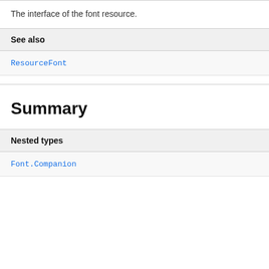The interface of the font resource.
| See also |
| --- |
| ResourceFont |
Summary
| Nested types |
| --- |
| Font.Companion |